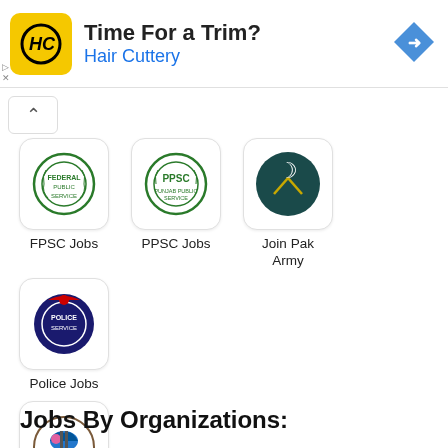[Figure (screenshot): Advertisement banner for Hair Cuttery with HC logo, text 'Time For a Trim? Hair Cuttery', and a blue diamond navigation arrow icon]
[Figure (infographic): Grid of Pakistani government job category icons: FPSC Jobs (green emblem), PPSC Jobs (green PPSC emblem), Join Pak Army (dark teal crescent and swords), Police Jobs (red/blue police emblem), Wapda Jobs (colorful WAPDA emblem)]
Jobs By Organizations: